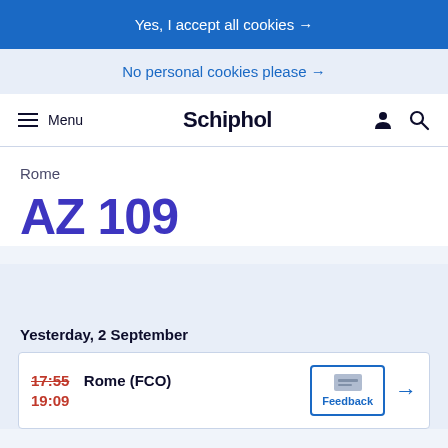Yes, I accept all cookies →
No personal cookies please →
Menu   Schiphol
Rome
AZ 109
Yesterday, 2 September
17:55  Rome (FCO)
19:09